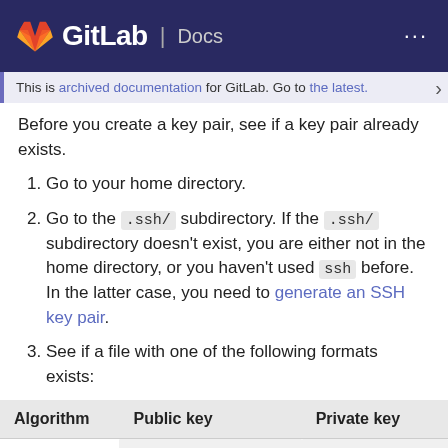GitLab | Docs
This is archived documentation for GitLab. Go to the latest.
Before you create a key pair, see if a key pair already exists.
1. Go to your home directory.
2. Go to the .ssh/ subdirectory. If the .ssh/ subdirectory doesn't exist, you are either not in the home directory, or you haven't used ssh before. In the latter case, you need to generate an SSH key pair.
3. See if a file with one of the following formats exists:
| Algorithm | Public key | Private key |
| --- | --- | --- |
| ED25519 (preferred) | id_ed25519.pub | id_ed25519 |
| ED25519 SK | id_ed25519_sk.pub | id_ed25519_sk |